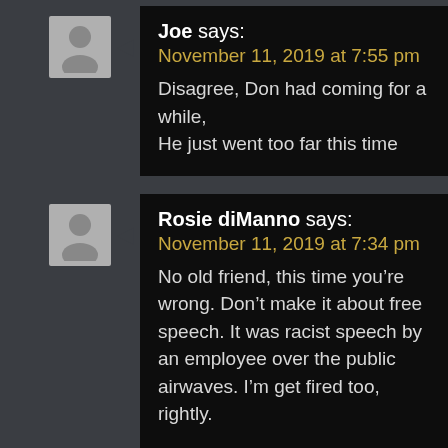Joe says: November 11, 2019 at 7:55 pm
Disagree, Don had coming for a while,
He just went too far this time
Rosie diManno says: November 11, 2019 at 7:34 pm
No old friend, this time you're wrong. Don't make it about free speech. It was racist speech by an employee over the public airwaves. I'm get fired too, rightly.
Rosie...